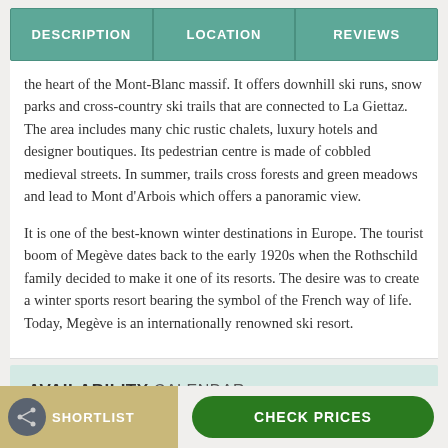| DESCRIPTION | LOCATION | Reviews |
| --- | --- | --- |
the heart of the Mont-Blanc massif. It offers downhill ski runs, snow parks and cross-country ski trails that are connected to La Giettaz. The area includes many chic rustic chalets, luxury hotels and designer boutiques. Its pedestrian centre is made of cobbled medieval streets. In summer, trails cross forests and green meadows and lead to Mont d'Arbois which offers a panoramic view.
It is one of the best-known winter destinations in Europe. The tourist boom of Megève dates back to the early 1920s when the Rothschild family decided to make it one of its resorts. The desire was to create a winter sports resort bearing the symbol of the French way of life. Today, Megève is an internationally renowned ski resort.
AVAILABILITY CALENDAR
SHORTLIST
CHECK PRICES